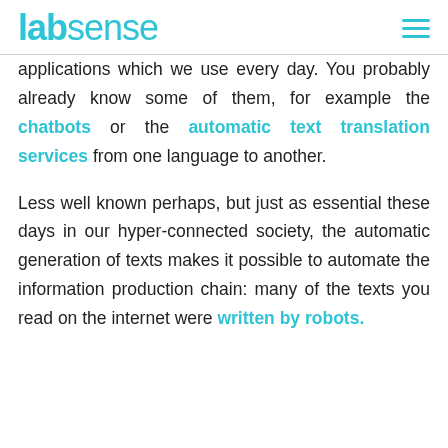labsense
applications which we use every day. You probably already know some of them, for example the chatbots or the automatic text translation services from one language to another.

Less well known perhaps, but just as essential these days in our hyper-connected society, the automatic generation of texts makes it possible to automate the information production chain: many of the texts you read on the internet were written by robots.